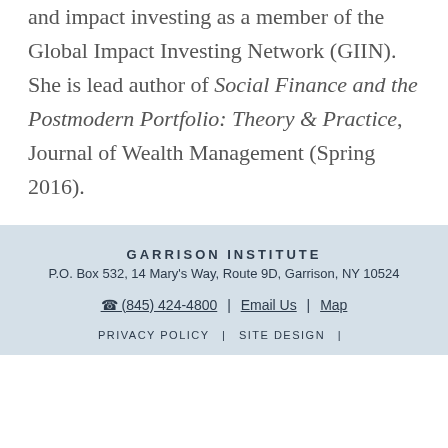and impact investing as a member of the Global Impact Investing Network (GIIN). She is lead author of Social Finance and the Postmodern Portfolio: Theory & Practice, Journal of Wealth Management (Spring 2016).
GARRISON INSTITUTE
P.O. Box 532, 14 Mary's Way, Route 9D, Garrison, NY 10524
☎ (845) 424-4800 | Email Us | Map
PRIVACY POLICY | SITE DESIGN |